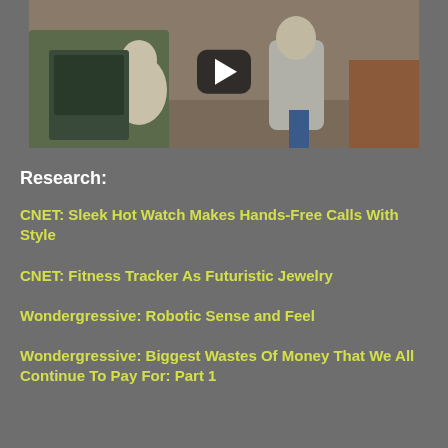[Figure (screenshot): Video thumbnail showing a cartoon/animated scene with characters, with a YouTube-style play button overlay in the center.]
Research:
CNET: Sleek Hot Watch Makes Hands-Free Calls With Style
CNET: Fitness Tracker As Futuristic Jewelry
Wondergressive: Robotic Sense and Feel
Wondergressive: Biggest Wastes Of Money That We All Continue To Pay For: Part 1